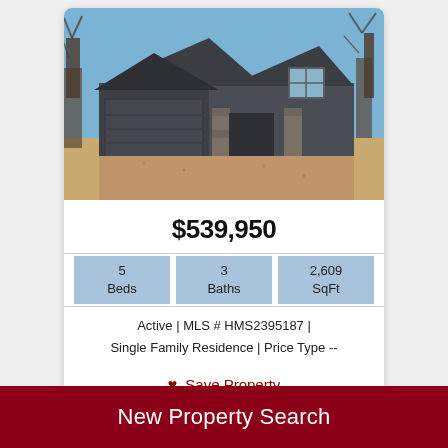[Figure (photo): Exterior photo of a single-family home with dark gray/charcoal siding, stone accent columns, two-car garage, and a large brown gravel front yard under a blue winter sky with bare trees in background.]
$539,950
| Beds | Baths | SqFt |
| --- | --- | --- |
| 5 | 3 | 2,609 |
Active | MLS # HMS2395187 | Single Family Residence | Price Type --
♥ Save Property
🔍 View Property Details
New Property Search